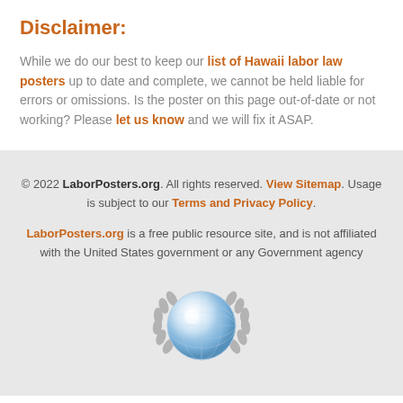Disclaimer:
While we do our best to keep our list of Hawaii labor law posters up to date and complete, we cannot be held liable for errors or omissions. Is the poster on this page out-of-date or not working? Please let us know and we will fix it ASAP.
© 2022 LaborPosters.org. All rights reserved. View Sitemap. Usage is subject to our Terms and Privacy Policy. LaborPosters.org is a free public resource site, and is not affiliated with the United States government or any Government agency
[Figure (logo): Globe with laurel wreath emblem logo for LaborPosters.org]